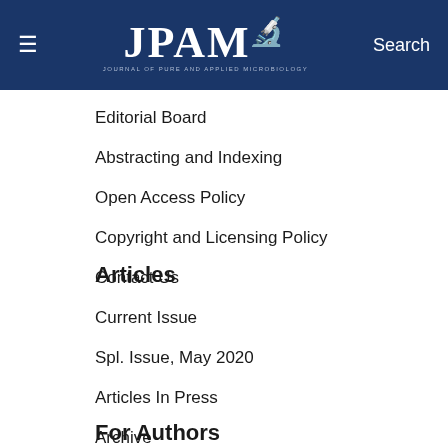≡  JPAM  Search
Editorial Board
Abstracting and Indexing
Open Access Policy
Copyright and Licensing Policy
Contact Us
Articles
Current Issue
Spl. Issue, May 2020
Articles In Press
Archive
For Authors